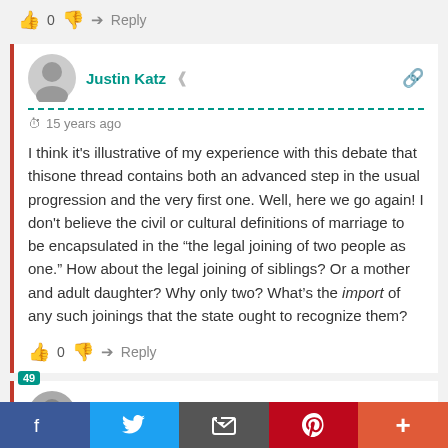👍 0 👎 ➜ Reply
Justin Katz  🔗  ⏰ 15 years ago
I think it's illustrative of my experience with this debate that thisone thread contains both an advanced step in the usual progression and the very first one. Well, here we go again! I don't believe the civil or cultural definitions of marriage to be encapsulated in the "the legal joining of two people as one." How about the legal joining of siblings? Or a mother and adult daughter? Why only two? What's the import of any such joinings that the state ought to recognize them?
👍 0 👎 ➜ Reply
Justin Katz  🔗